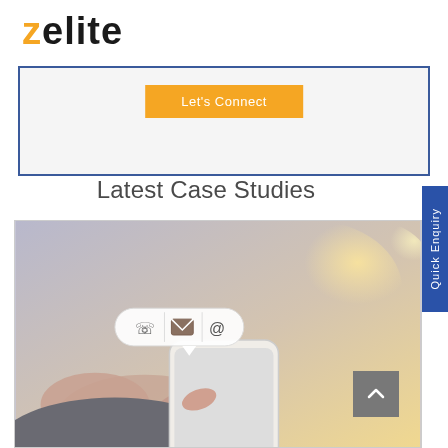[Figure (logo): Zelite logo with orange Z and black 'elite' text]
[Figure (screenshot): Orange 'Let's Connect' CTA button inside a bordered box with light grey background]
Latest Case Studies
[Figure (photo): Person holding smartphone with contact icons (phone, email, @) floating above the phone; bokeh warm light background]